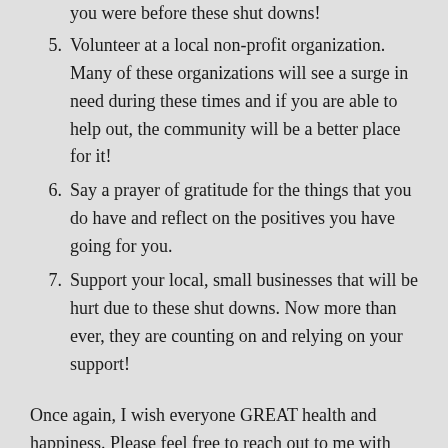you were before these shut downs!
5. Volunteer at a local non-profit organization. Many of these organizations will see a surge in need during these times and if you are able to help out, the community will be a better place for it!
6. Say a prayer of gratitude for the things that you do have and reflect on the positives you have going for you.
7. Support your local, small businesses that will be hurt due to these shut downs. Now more than ever, they are counting on and relying on your support!
Once again, I wish everyone GREAT health and happiness. Please feel free to reach out to me with any changes or questions. The The Nelson Team REMAIN